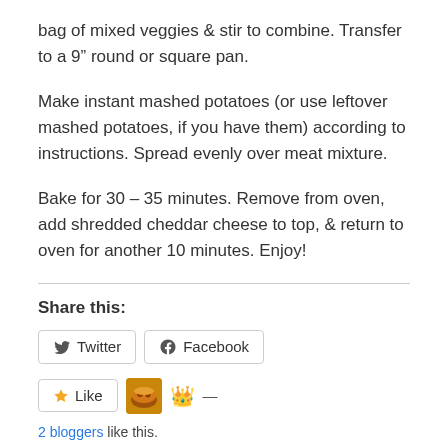bag of mixed veggies & stir to combine. Transfer to a 9" round or square pan.
Make instant mashed potatoes (or use leftover mashed potatoes, if you have them) according to instructions. Spread evenly over meat mixture.
Bake for 30 – 35 minutes. Remove from oven, add shredded cheddar cheese to top, & return to oven for another 10 minutes. Enjoy!
Share this:
Twitter  Facebook
Like  2 bloggers like this.